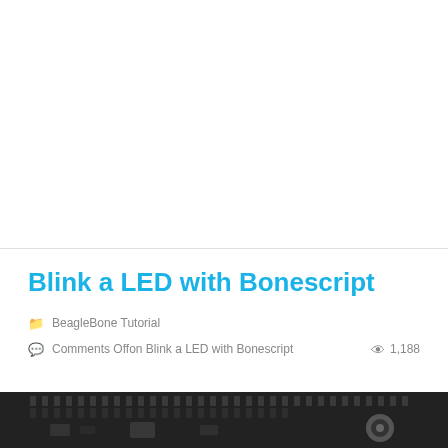Blink a LED with Bonescript
BeagleBone Tutorial
Comments Offon Blink a LED with Bonescript   1,188
[Figure (photo): Close-up photo of a BeagleBone circuit board showing GPIO header pins and connectors on a dark PCB background]